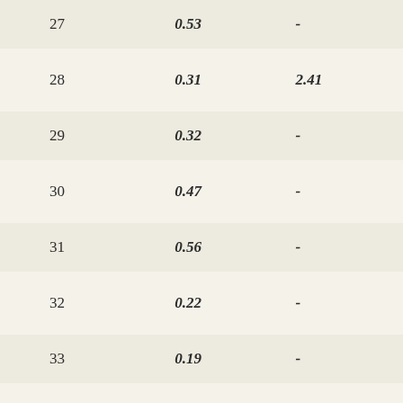| 27 | 0.53 | - |
| 28 | 0.31 | 2.41 |
| 29 | 0.32 | - |
| 30 | 0.47 | - |
| 31 | 0.56 | - |
| 32 | 0.22 | - |
| 33 | 0.19 | - |
| 34 | 0.17 | - |